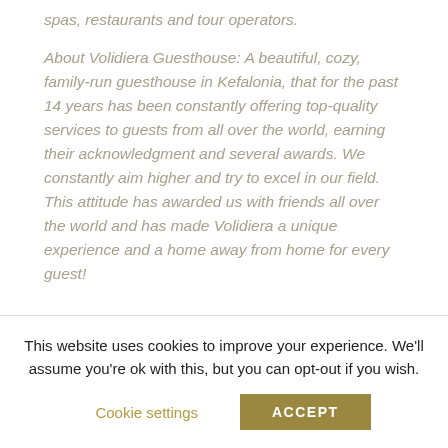spas, restaurants and tour operators.

About Volidiera Guesthouse: A beautiful, cozy, family-run guesthouse in Kefalonia, that for the past 14 years has been constantly offering top-quality services to guests from all over the world, earning their acknowledgment and several awards. We constantly aim higher and try to excel in our field. This attitude has awarded us with friends all over the world and has made Volidiera a unique experience and a home away from home for every guest!
This website uses cookies to improve your experience. We'll assume you're ok with this, but you can opt-out if you wish.